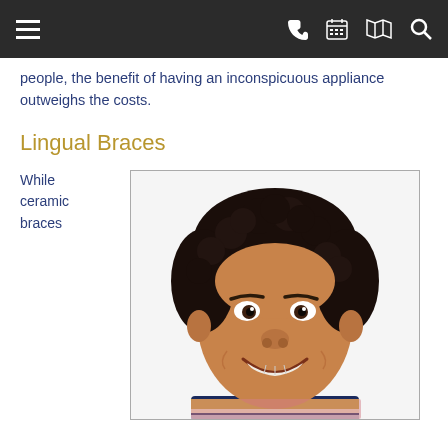[Navigation bar with hamburger menu, phone, calendar, map, and search icons]
people, the benefit of having an inconspicuous appliance outweighs the costs.
Lingual Braces
While ceramic braces
[Figure (photo): Smiling young boy with curly dark hair wearing a navy and yellow sports jersey, shown against a white background with a slight border frame.]